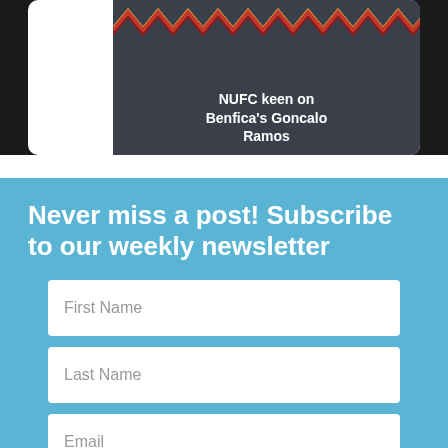[Figure (screenshot): Partial screenshot of a mobile phone card showing a sports news article with zigzag/chevron pattern in red, yellow, dark red at top and text 'NUFC keen on Benfica's Goncalo Ramos' overlaid on dark background]
Never miss a post! Subscribe to our weekly newsletter
First Name
Last Name
Email